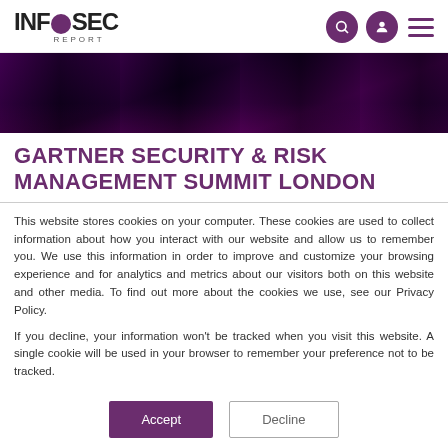INFOSEC REPORT
[Figure (photo): Dark conference room with audience silhouettes, pink/purple lighting]
GARTNER SECURITY & RISK MANAGEMENT SUMMIT LONDON
This website stores cookies on your computer. These cookies are used to collect information about how you interact with our website and allow us to remember you. We use this information in order to improve and customize your browsing experience and for analytics and metrics about our visitors both on this website and other media. To find out more about the cookies we use, see our Privacy Policy.
If you decline, your information won't be tracked when you visit this website. A single cookie will be used in your browser to remember your preference not to be tracked.
Accept | Decline